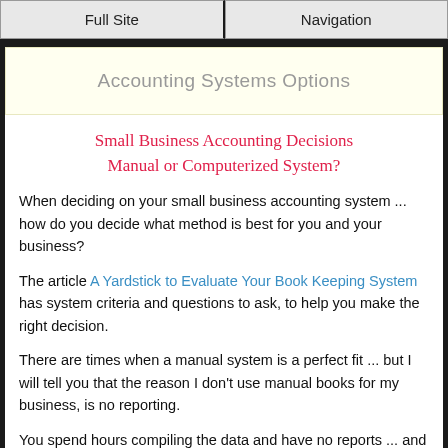Full Site | Navigation
Accounting Systems Options
Small Business Accounting Decisions Manual or Computerized System?
When deciding on your small business accounting system ... how do you decide what method is best for you and your business?
The article A Yardstick to Evaluate Your Book Keeping System has system criteria and questions to ask, to help you make the right decision.
There are times when a manual system is a perfect fit ... but I will tell you that the reason I don't use manual books for my business, is no reporting.
You spend hours compiling the data and have no reports ... and the inability to search or look up a transaction or series of transaction